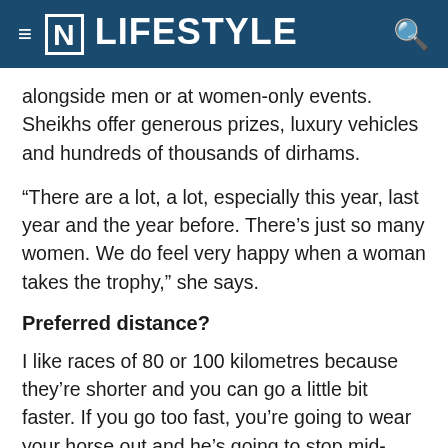[N] LIFESTYLE
alongside men or at women-only events. Sheikhs offer generous prizes, luxury vehicles and hundreds of thousands of dirhams.
“There are a lot, a lot, especially this year, last year and the year before. There’s just so many women. We do feel very happy when a woman takes the trophy,” she says.
Preferred distance?
I like races of 80 or 100 kilometres because they’re shorter and you can go a little bit faster. If you go too fast, you’re going to wear your horse out and he’s going to stop mid-race. That’s the hardest part, holding that